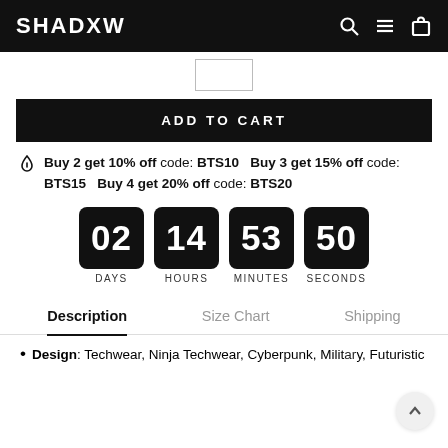SHADXW
[Figure (screenshot): Quantity input box]
ADD TO CART
Buy 2 get 10% off code: BTS10   Buy 3 get 15% off code: BTS15   Buy 4 get 20% off code: BTS20
[Figure (infographic): Countdown timer showing 02 DAYS, 14 HOURS, 53 MINUTES, 50 SECONDS]
Description   Size Chart   Shipping
Design: Techwear, Ninja Techwear, Cyberpunk, Military, Futuristic